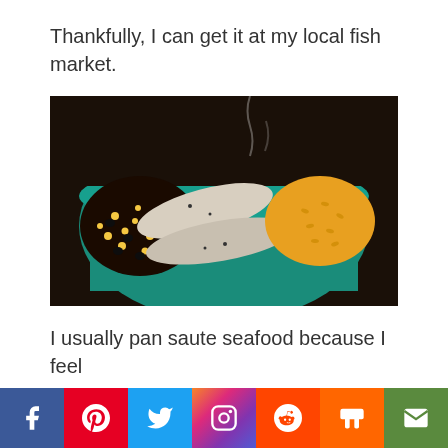Thankfully, I can get it at my local fish market.
[Figure (photo): A teal ceramic plate with two pan-sauteed white fish fillets, black beans and corn mixture on the left, and seasoned rice on the right, served on a dark baking pan with steam rising.]
I usually pan saute seafood because I feel
Facebook | Pinterest | Twitter | Instagram | Reddit | Mix | Email